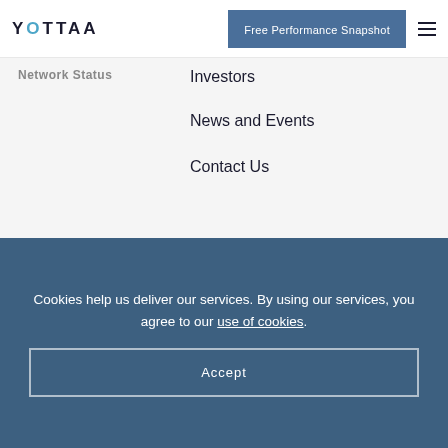YOTTAA
Free Performance Snapshot
Network Status
Investors
News and Events
Contact Us
[Figure (logo): YOTTAA logo centered on light gray background]
Cookies help us deliver our services. By using our services, you agree to our use of cookies.
Accept